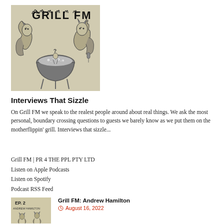[Figure (illustration): Grill FM podcast cover art: hand-drawn illustration showing two devil-like creatures holding a bowl with a small figure inside, text 'GRILL FM' at top in flame-style lettering]
Interviews That Sizzle
On Grill FM we speak to the realest people around about real things. We ask the most personal, boundary crossing questions to guests we barely know as we put them on the motherflippin' grill. Interviews that sizzle...
Grill FM | PR 4 THE PPL PTY LTD
Listen on Apple Podcasts
Listen on Spotify
Podcast RSS Feed
[Figure (illustration): Grill FM Episode 2 thumbnail: hand-drawn illustration with 'EP. 2' and 'Andrew Hamilton' text, showing cartoon figures]
Grill FM: Andrew Hamilton
August 16, 2022